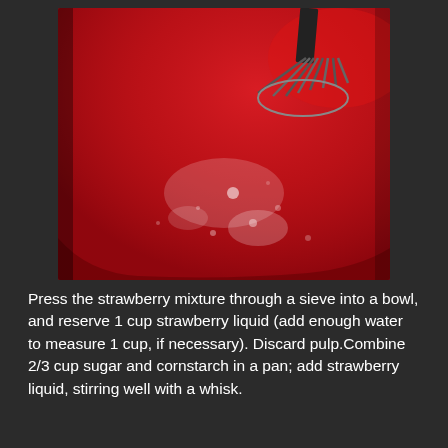[Figure (photo): Close-up photo of bright red strawberry mixture in a bowl being stirred with a metal whisk. The mixture appears glossy and sauce-like.]
Press the strawberry mixture through a sieve into a bowl, and reserve 1 cup strawberry liquid (add enough water to measure 1 cup, if necessary). Discard pulp.Combine 2/3 cup sugar and cornstarch in a pan; add strawberry liquid, stirring well with a whisk.